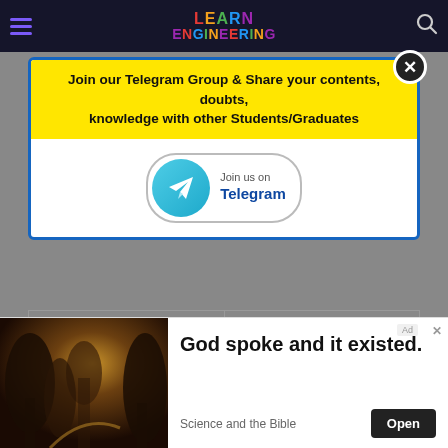LEARN ENGINEERING
Join our Telegram Group & Share your contents, doubts, knowledge with other Students/Graduates
[Figure (infographic): Telegram 'Join us on Telegram' button with paper plane icon]
| Channel/Group | Link |
| --- | --- |
| Official Telegram Channel | JOIN A CHANNEL |
| New Mock (Free Quiz) Website | JOIN A CHANNEL |
| Jobs Alerts Group | TELEGRAM CHANNEL |
[Figure (photo): Forest path with sunlight - advertisement image for 'God spoke and it existed.' Science and the Bible]